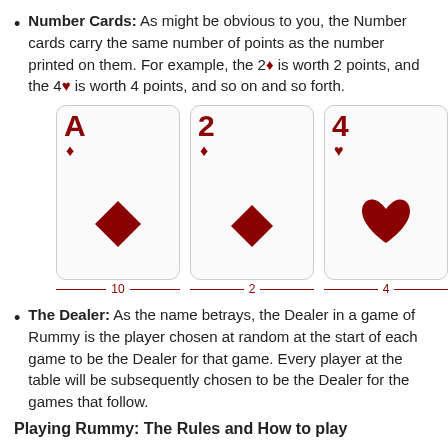Number Cards: As might be obvious to you, the Number cards carry the same number of points as the number printed on them. For example, the 2♦ is worth 2 points, and the 4♥ is worth 4 points, and so on and so forth.
[Figure (illustration): Three playing cards: Ace of Diamonds (labeled 10), 2 of Diamonds (labeled 2), 4 of Hearts (labeled 4)]
The Dealer: As the name betrays, the Dealer in a game of Rummy is the player chosen at random at the start of each game to be the Dealer for that game. Every player at the table will be subsequently chosen to be the Dealer for the games that follow.
Playing Rummy: The Rules and How to play
Well, now that you've familiarized yourself with all the terms, jargon and the very basics of the game, you can proceed to the next stage with a strong foundation and indeed a great deal of confidence.
The next stage is learning how to play the beautiful game of